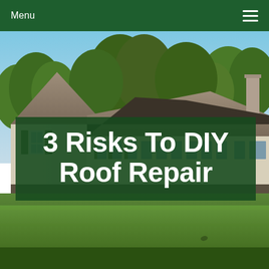Menu
[Figure (photo): Exterior photo of a suburban two-story house with a tan/gray roof, beige siding, green shutters, and a well-kept green lawn with trees in the background under a blue sky.]
3 Risks To DIY Roof Repair